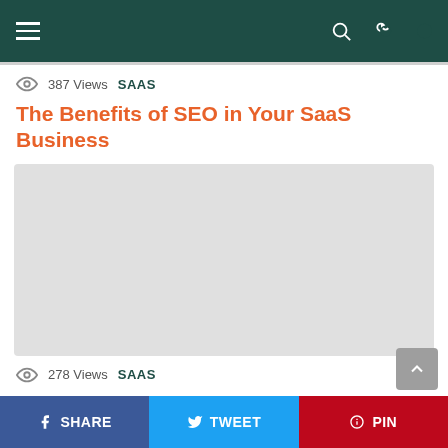Navigation bar with hamburger menu, search and dark mode icons
387 Views  SAAS
The Benefits of SEO in Your SaaS Business
[Figure (photo): Large light gray image placeholder for article hero image]
278 Views  SAAS
SHARE  TWEET  PIN